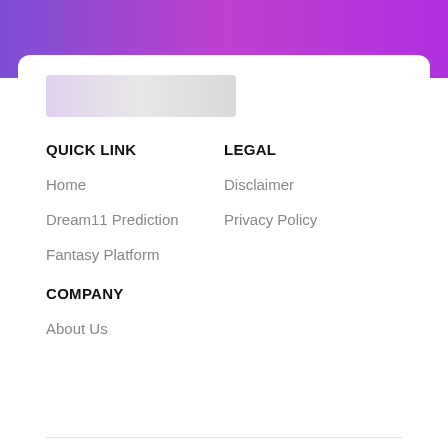[Figure (other): Gradient header banner with purple to pink/magenta gradient]
[Figure (other): Blurred/redacted logo placeholder image]
QUICK LINK
LEGAL
Home
Disclaimer
Dream11 Prediction
Privacy Policy
Fantasy Platform
COMPANY
About Us